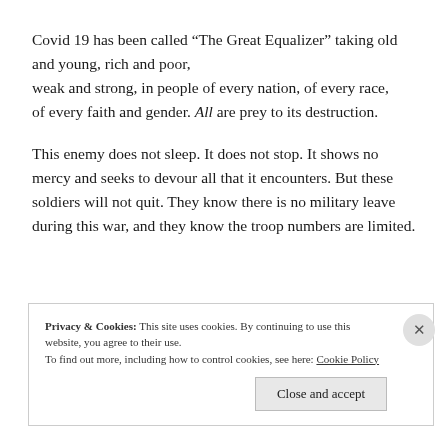Covid 19 has been called “The Great Equalizer” taking old and young, rich and poor, weak and strong, in people of every nation, of every race, of every faith and gender. All are prey to its destruction.
This enemy does not sleep. It does not stop. It shows no mercy and seeks to devour all that it encounters. But these soldiers will not quit. They know there is no military leave during this war, and they know the troop numbers are limited.
Privacy & Cookies: This site uses cookies. By continuing to use this website, you agree to their use. To find out more, including how to control cookies, see here: Cookie Policy